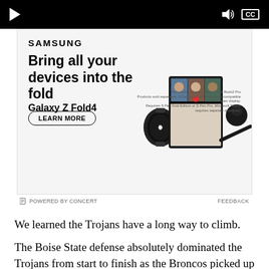[Figure (screenshot): Video player bar with play button, volume icon, and CC button on black background]
[Figure (screenshot): Samsung advertisement for Galaxy Z Fold4 showing 'Bring all your devices into the fold' headline with LEARN MORE button and device images including phone, tablet, earbuds, and stylus]
POWERED BY CONCERT   FEEDBACK
We learned the Trojans have a long way to climb.
The Boise State defense absolutely dominated the Trojans from start to finish as the Broncos picked up a nice non-conference win, 24-13. For the day, the Trojans only ended with 215 yards of total offense and